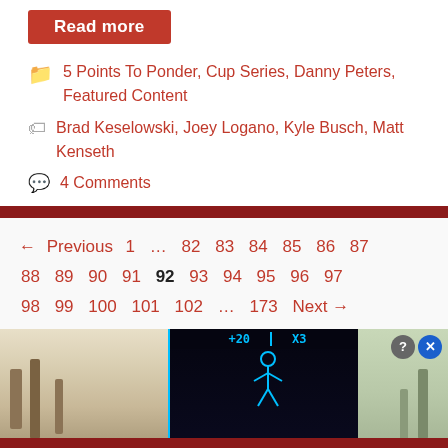Read more
5 Points To Ponder, Cup Series, Danny Peters, Featured Content
Brad Keselowski, Joey Logano, Kyle Busch, Matt Kenseth
4 Comments
← Previous 1 … 82 83 84 85 86 87 88 89 90 91 92 93 94 95 96 97 98 99 100 101 102 … 173 Next →
[Figure (screenshot): Advertisement overlay showing a mobile game with a dark interface, blue neon score bars reading '+20' and 'X3', a stylized human figure graphic, and 'Hold and Move' text. Background shows outdoor winter scenery. Close buttons (? and X) visible top right.]